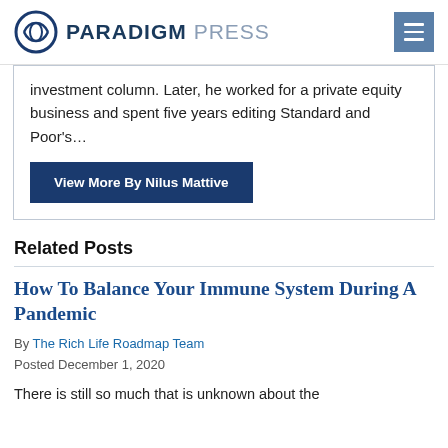PARADIGM PRESS
investment column. Later, he worked for a private equity business and spent five years editing Standard and Poor's…
View More By Nilus Mattive
Related Posts
How To Balance Your Immune System During A Pandemic
By The Rich Life Roadmap Team
Posted December 1, 2020
There is still so much that is unknown about the